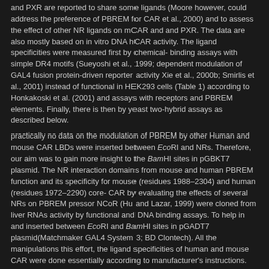and PXR are reported to share some ligands (Moore however, could address the preference of PBREM for CAR et al., 2000) and to assess the effect of other NR ligands on mCAR and and PXR. The data are also mostly based on in vitro DNA hCAR activity. The ligand specificities were measured first by chemical- binding assays with simple DR4 motifs (Sueyoshi et al., 1999; dependent modulation of GAL4 fusion protein-driven reporter activity Xie et al., 2000b; Smirlis et al., 2001) instead of functional in HEK293 cells (Table 1) according to Honkakoski et al. (2001) and assays with receptors and PBREM elements. Finally, there is then by yeast two-hybrid assays as described below.
practically no data on the modulation of PBREM by other Human and mouse CAR LBDs were inserted between EcoRI and NRs. Therefore, our aim was to gain more insight to the BamHI sites in pGBKT7 plasmid. The NR interaction domains from mouse and human PBREM function and its specificity for mouse (residues 1988–2304) and human (residues 1972–2290) core- CAR by evaluating the effects of several NRs on PBREM pressor NCoR (Hu and Lazar, 1999) were cloned from liver RNAs activity by functional and DNA binding assays. To help in and inserted between EcoRI and BamHI sites in pGADT7 plasmid(Matchmaker GAL4 System 3; BD Clontech). All the manipulations this effort, the ligand specificities of human and mouse CAR were done essentially according to manufacturer's instructions. Ran- were also defined.